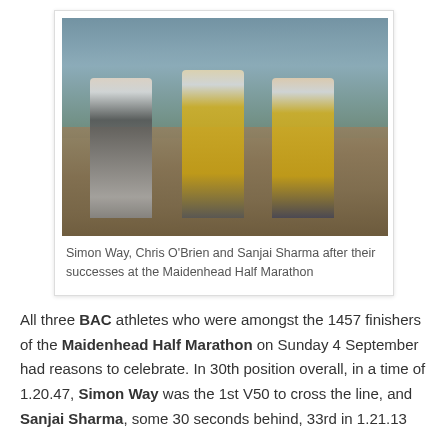[Figure (photo): Three male runners posing together after a race. Left man wears dark long-sleeve top and shorts with a medal. Middle and right men wear yellow and blue running vests with race numbers 3510 and 3723 respectively. Background shows a large stadium/venue structure, crowds, and cloudy sky.]
Simon Way, Chris O'Brien and Sanjai Sharma after their successes at the Maidenhead Half Marathon
All three BAC athletes who were amongst the 1457 finishers of the Maidenhead Half Marathon on Sunday 4 September had reasons to celebrate. In 30th position overall, in a time of 1.20.47, Simon Way was the 1st V50 to cross the line, and Sanjai Sharma, some 30 seconds behind, 33rd in 1.21.13